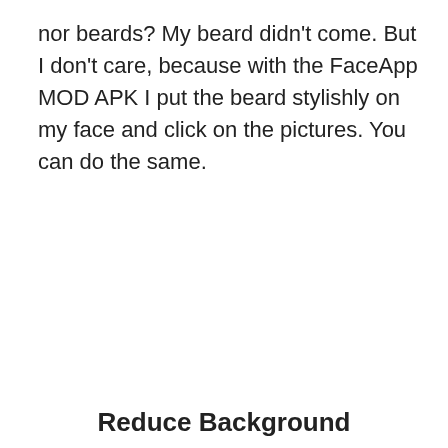nor beards? My beard didn't come. But I don't care, because with the FaceApp MOD APK I put the beard stylishly on my face and click on the pictures. You can do the same.
Reduce Background